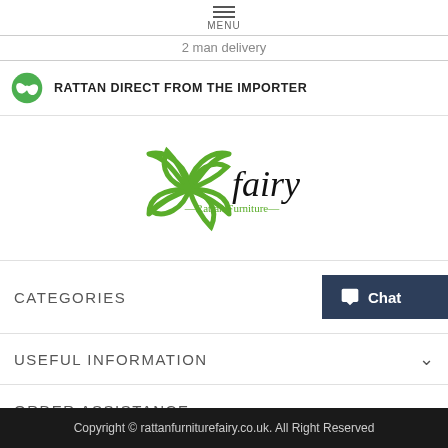MENU
2 man delivery
RATTAN DIRECT FROM THE IMPORTER
[Figure (logo): Fairy Rattan Furniture logo with green leaf/petal symbol and italic 'fairy' text with '—Rattan Furniture—' subtitle]
CATEGORIES
USEFUL INFORMATION
ORDER ASSISTANCE
Copyright © rattanfurniturefairy.co.uk. All Right Reserved